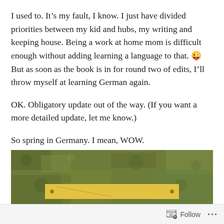I used to. It's my fault, I know. I just have divided priorities between my kid and hubs, my writing and keeping house. Being a work at home mom is difficult enough without adding learning a language to that. 😜 But as soon as the book is in for round two of edits, I'll throw myself at learning German again.
OK. Obligatory update out of the way. (If you want a more detailed update, let me know.)
So spring in Germany. I mean, WOW.
[Figure (photo): Outdoor photo showing a moss-covered stone wall with a yellow wooden sign or plank mounted on it, partially visible at the bottom of the image.]
Follow ···